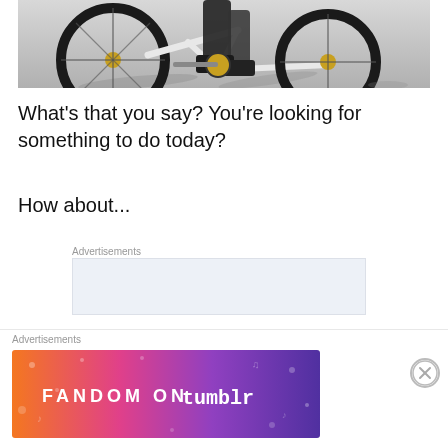[Figure (photo): Partial view of a BMX bike with white frame, black tires, and a person's legs/feet visible, casting shadows on a grey concrete surface. Top portion of the image is cropped.]
What’s that you say? You’re looking for something to do today?
How about...
Advertisements
[Figure (other): Light blue-grey advertisement placeholder box]
Advertisements
[Figure (other): Fandom on Tumblr advertisement banner with gradient background from orange to purple, featuring white text 'FANDOM ON tumblr' with decorative icons and patterns]